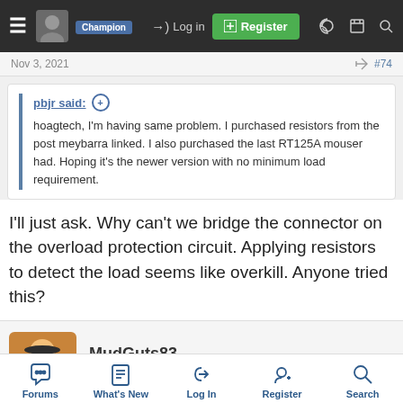Log in | Register
Nov 3, 2021  #74
pbjr said:
hoagtech, I'm having same problem. I purchased resistors from the post meybarra linked. I also purchased the last RT125A mouser had. Hoping it's the newer version with no minimum load requirement.
I'll just ask. Why can't we bridge the connector on the overload protection circuit. Applying resistors to detect the load seems like overkill. Anyone tried this?
MudGuts83
Enthusiast
Forums  What's New  Log In  Register  Search